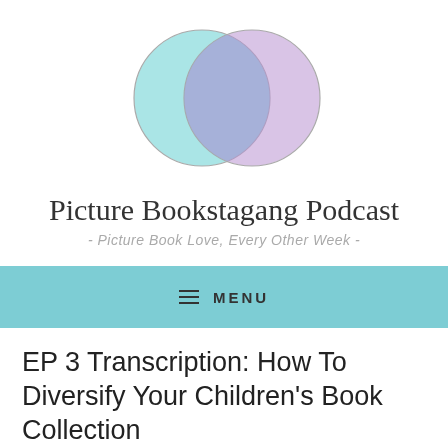[Figure (logo): Two overlapping circles forming a Venn diagram logo — left circle in teal/turquoise, right circle in lavender/purple, overlapping in the center with a blended purple-teal color. Both circles outlined with thin grey lines.]
Picture Bookstagang Podcast
- Picture Book Love, Every Other Week -
≡ MENU
EP 3 Transcription: How To Diversify Your Children's Book Collection